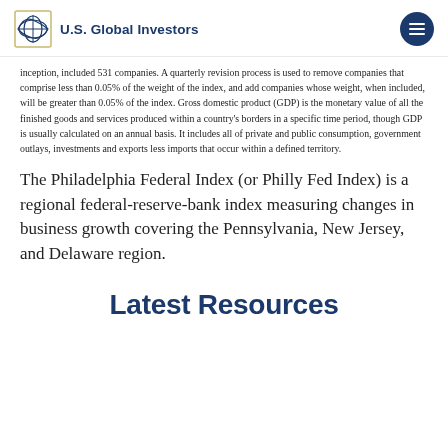U.S. Global Investors
inception, included 531 companies. A quarterly revision process is used to remove companies that comprise less than 0.05% of the weight of the index, and add companies whose weight, when included, will be greater than 0.05% of the index. Gross domestic product (GDP) is the monetary value of all the finished goods and services produced within a country's borders in a specific time period, though GDP is usually calculated on an annual basis. It includes all of private and public consumption, government outlays, investments and exports less imports that occur within a defined territory.
The Philadelphia Federal Index (or Philly Fed Index) is a regional federal-reserve-bank index measuring changes in business growth covering the Pennsylvania, New Jersey, and Delaware region.
Latest Resources